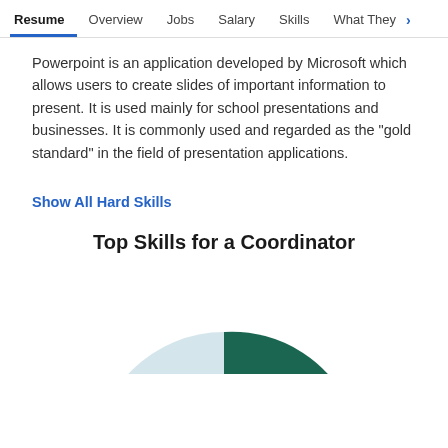Resume | Overview | Jobs | Salary | Skills | What They >
Powerpoint is an application developed by Microsoft which allows users to create slides of important information to present. It is used mainly for school presentations and businesses. It is commonly used and regarded as the "gold standard" in the field of presentation applications.
Show All Hard Skills
Top Skills for a Coordinator
[Figure (pie-chart): Partial pie chart showing top skills for a coordinator, with a dark teal/green slice and a light blue-gray slice visible, partially cropped at the bottom of the page.]